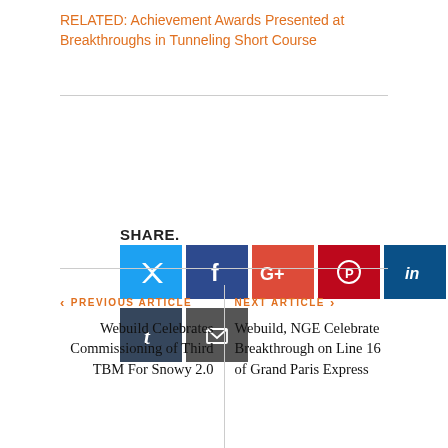RELATED: Achievement Awards Presented at Breakthroughs in Tunneling Short Course
[Figure (infographic): Social media share buttons: Twitter, Facebook, Google+, Pinterest, LinkedIn, Tumblr, Email with SHARE. label above]
‹ PREVIOUS ARTICLE
Webuild Celebrates Commissioning of Third TBM For Snowy 2.0
NEXT ARTICLE ›
Webuild, NGE Celebrate Breakthrough on Line 16 of Grand Paris Express